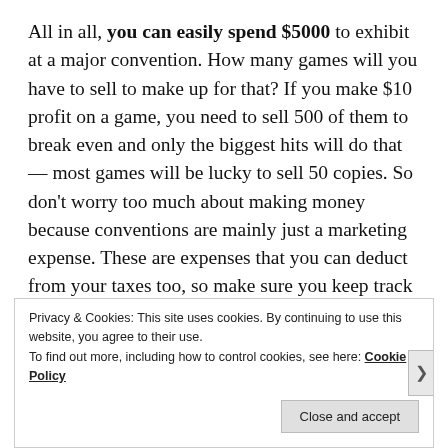All in all, you can easily spend $5000 to exhibit at a major convention. How many games will you have to sell to make up for that? If you make $10 profit on a game, you need to sell 500 of them to break even and only the biggest hits will do that — most games will be lucky to sell 50 copies. So don't worry too much about making money because conventions are mainly just a marketing expense. These are expenses that you can deduct from your taxes too, so make sure you keep track of exactly how much you're spending.
Privacy & Cookies: This site uses cookies. By continuing to use this website, you agree to their use. To find out more, including how to control cookies, see here: Cookie Policy